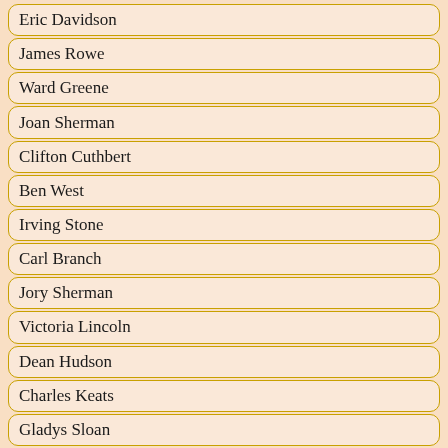Eric Davidson
James Rowe
Ward Greene
Joan Sherman
Clifton Cuthbert
Ben West
Irving Stone
Carl Branch
Jory Sherman
Victoria Lincoln
Dean Hudson
Charles Keats
Gladys Sloan